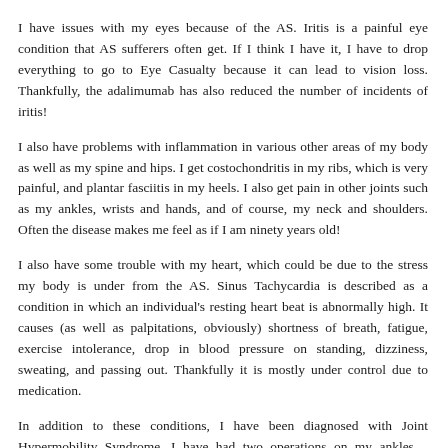I have issues with my eyes because of the AS. Iritis is a painful eye condition that AS sufferers often get. If I think I have it, I have to drop everything to go to Eye Casualty because it can lead to vision loss. Thankfully, the adalimumab has also reduced the number of incidents of iritis!
I also have problems with inflammation in various other areas of my body as well as my spine and hips. I get costochondritis in my ribs, which is very painful, and plantar fasciitis in my heels. I also get pain in other joints such as my ankles, wrists and hands, and of course, my neck and shoulders. Often the disease makes me feel as if I am ninety years old!
I also have some trouble with my heart, which could be due to the stress my body is under from the AS. Sinus Tachycardia is described as a condition in which an individual's resting heart beat is abnormally high. It causes (as well as palpitations, obviously) shortness of breath, fatigue, exercise intolerance, drop in blood pressure on standing, dizziness, sweating, and passing out. Thankfully it is mostly under control due to medication.
In addition to these conditions, I have been diagnosed with Joint Hypermobility Syndrome. I have had two operations on my ankles – ligament reconstructions – in 2015 and 2016 – in an attempt to stop them from giving way all the time.